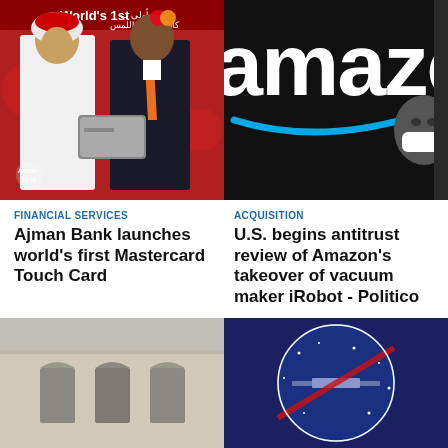[Figure (photo): Two men in formal attire at a Mastercard event, one in traditional Arab dress, holding a card, with 'World's 1st' banner and Arabic text in background]
[Figure (photo): Amazon logo sign in dark background with a person wearing a white face mask visible on the right side]
FINANCIAL SERVICES
Ajman Bank launches world's first Mastercard Touch Card
ACQUISITION
U.S. begins antitrust review of Amazon's takeover of vacuum maker iRobot - Politico
[Figure (photo): Exterior of a classical building with arched windows and architectural details]
[Figure (photo): NASA or space agency circular logo/emblem with stars and a spacecraft visible]